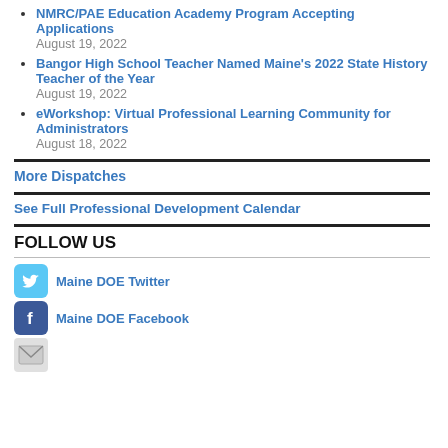NMRC/PAE Education Academy Program Accepting Applications
August 19, 2022
Bangor High School Teacher Named Maine's 2022 State History Teacher of the Year
August 19, 2022
eWorkshop: Virtual Professional Learning Community for Administrators
August 18, 2022
More Dispatches
See Full Professional Development Calendar
FOLLOW US
Maine DOE Twitter
Maine DOE Facebook